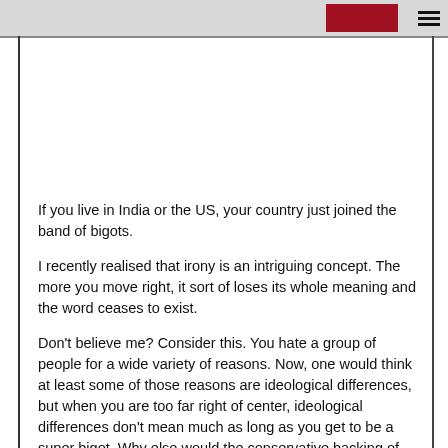If you live in India or the US, your country just joined the band of bigots.
I recently realised that irony is an intriguing concept. The more you move right, it sort of loses its whole meaning and the word ceases to exist.
Don't believe me? Consider this. You hate a group of people for a wide variety of reasons. Now, one would think at least some of those reasons are ideological differences, but when you are too far right of center, ideological differences don't mean much as long as you get to be a super bigot. Why else would the conservative backing of two strong bigoted...